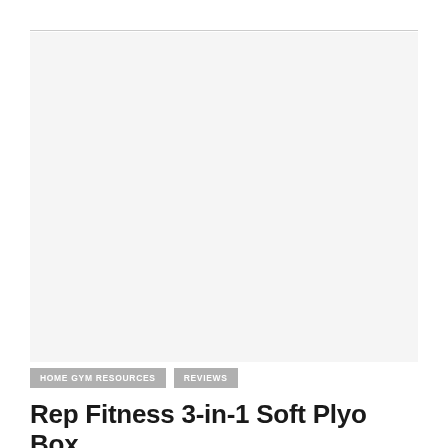[Figure (photo): Large blank/white image area placeholder for a product photo of the Rep Fitness 3-in-1 Soft Plyo Box]
HOME GYM RESOURCES
REVIEWS
Rep Fitness 3-in-1 Soft Plyo Box